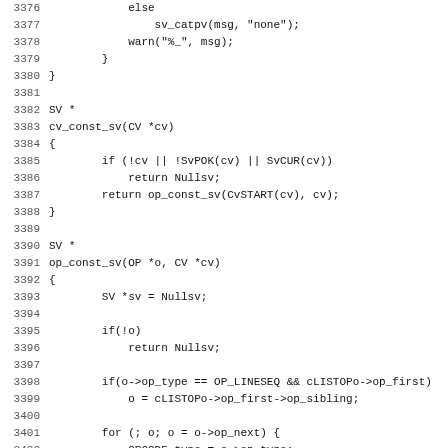[Figure (screenshot): Source code listing in monospace font showing C/Perl source code lines 3376-3408, with line numbers on the left and code on the right. The code shows functions sv_catpv, cv_const_sv, and op_const_sv with conditionals and loops.]